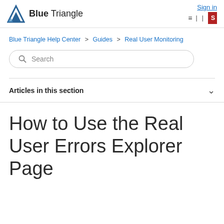Blue Triangle | Sign in
Blue Triangle Help Center > Guides > Real User Monitoring
Search
Articles in this section
How to Use the Real User Errors Explorer Page